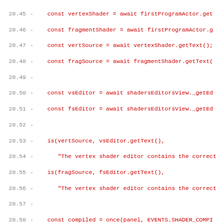Code diff showing removed lines 28.45 through 28.76+, displaying JavaScript test code with shader-related operations including vertexShader, fragmentShader, vsEditor, fsEditor, event listeners, and shader list view interactions.